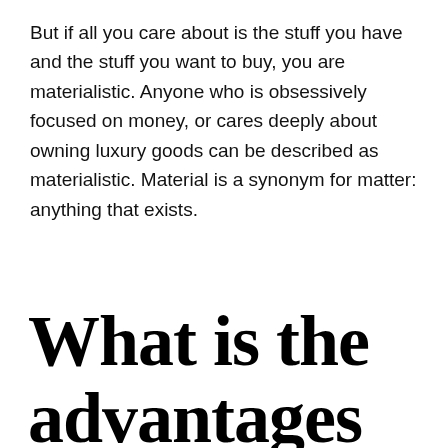But if all you care about is the stuff you have and the stuff you want to buy, you are materialistic. Anyone who is obsessively focused on money, or cares deeply about owning luxury goods can be described as materialistic. Material is a synonym for matter: anything that exists.
What is the advantages